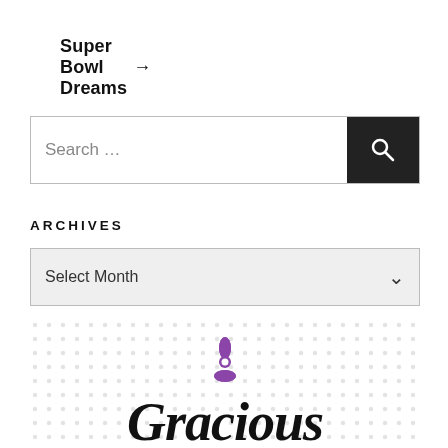Super Bowl Dreams →
[Figure (screenshot): Search bar with text input field showing 'Search …' placeholder and a dark search button with magnifying glass icon]
ARCHIVES
[Figure (screenshot): Dropdown select menu showing 'Select Month' with a chevron/arrow down icon]
[Figure (logo): Logo with a purple flower/asterisk icon above cursive script text reading 'Gracious' on a dotted background pattern]